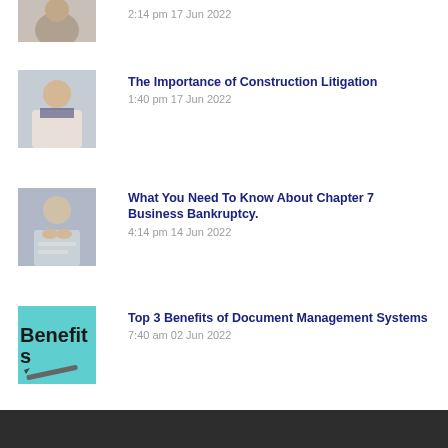[Figure (photo): Partial thumbnail of a person, cropped at top of page]
2:14 pm 17 Jun 2022
[Figure (photo): Person in business attire, construction litigation article thumbnail]
The Importance of Construction Litigation
1:40 pm 17 Jun 2022
[Figure (photo): Person with hands clasped, bankruptcy article thumbnail]
What You Need To Know About Chapter 7 Business Bankruptcy.
4:14 pm 14 Jun 2022
[Figure (photo): Teal background with 'Benefits' text and pen, document management article thumbnail]
Top 3 Benefits of Document Management Systems
7:40 am 02 Jun 2022